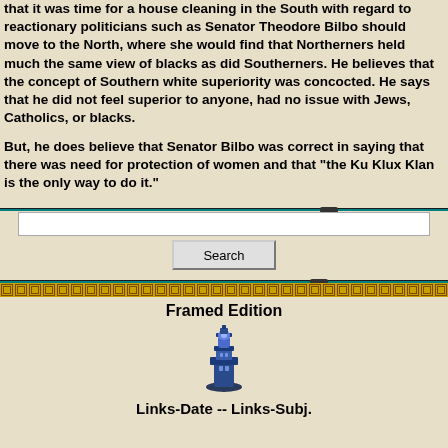that it was time for a house cleaning in the South with regard to reactionary politicians such as Senator Theodore Bilbo should move to the North, where she would find that Northerners held much the same view of blacks as did Southerners. He believes that the concept of Southern white superiority was concocted. He says that he did not feel superior to anyone, had no issue with Jews, Catholics, or blacks.
But, he does believe that Senator Bilbo was correct in saying that there was need for protection of women and that "the Ku Klux Klan is the only way to do it."
Framed Edition
[Figure (illustration): Blue lighthouse icon]
Links-Date -- Links-Subj.